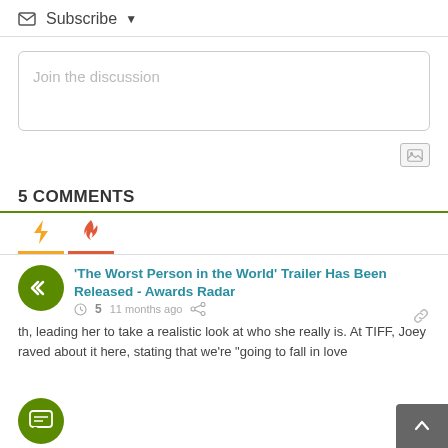Subscribe ▼
Join the discussion
5 COMMENTS
'The Worst Person in the World' Trailer Has Been Released - Awards Radar
5  11 months ago
th, leading her to take a realistic look at who she really is. At TIFF, Joey raved about it here, stating that we're "going to fall in love"